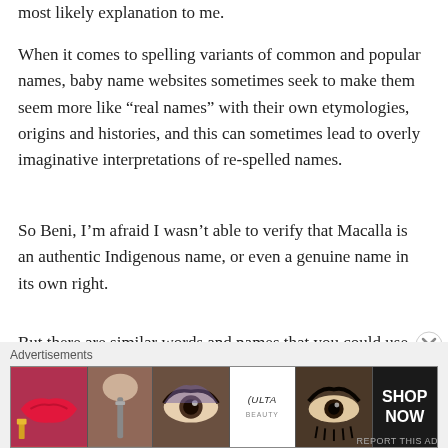most likely explanation to me.
When it comes to spelling variants of common and popular names, baby name websites sometimes seek to make them seem more like “real names” with their own etymologies, origins and histories, and this can sometimes lead to overly imaginative interpretations of re-spelled names.
So Beni, I’m afraid I wasn’t able to verify that Macalla is an authentic Indigenous name, or even a genuine name in its own right.
But there are similar words and names that you could use, such as Makala and Makalla, and of course there is always Michaela, which could very
Advertisements
[Figure (photo): Advertisement banner showing makeup-related images (lips with lipstick, makeup brush, eye with eyeshadow, Ulta Beauty logo, eye closeup) with SHOP NOW text on dark background]